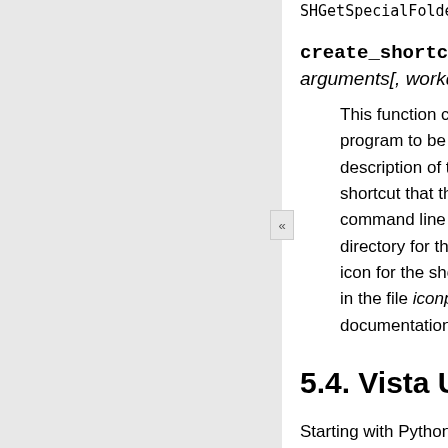SHGetSpecialFolde...
create_shortcut(...)
arguments[, workdir[, icon...
This function creates ... program to be starte... description of the s... shortcut that the use... command line argu... directory for the progr... icon for the shortcut, ... in the file iconpath. A... documentation for the...
5.4. Vista User A...
Starting with Python 2.6 access-control option... UAC handling is done), (meaning prompt for UAC...